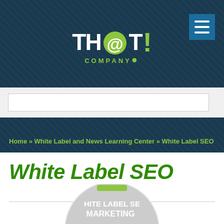[Figure (logo): TH@T! Company logo with green and white text on dark blue background]
Home » White Label and News Learning Center » White Label SEO
White Label SEO
[Figure (photo): Circular image with text WHITE LABEL SEO MARKETING partially visible at bottom of page]